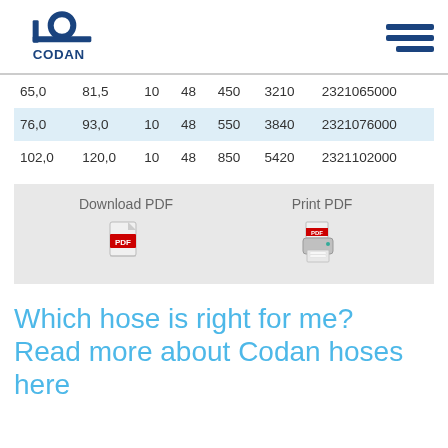CODAN logo and navigation
| 65,0 | 81,5 | 10 | 48 | 450 | 3210 | 2321065000 |
| 76,0 | 93,0 | 10 | 48 | 550 | 3840 | 2321076000 |
| 102,0 | 120,0 | 10 | 48 | 850 | 5420 | 2321102000 |
Download PDF
[Figure (illustration): Download PDF icon - red PDF file icon]
Print PDF
[Figure (illustration): Print PDF icon - red PDF file with printer]
Which hose is right for me? Read more about Codan hoses here